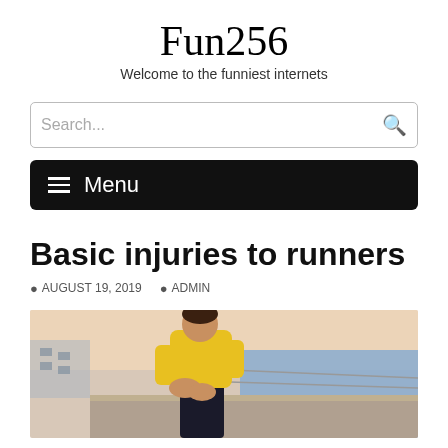Fun256
Welcome to the funniest internets
Search...
≡ Menu
Basic injuries to runners
AUGUST 19, 2019  ADMIN
[Figure (photo): A runner in a yellow jacket grabbing their knee in pain on a seaside path, with water visible in the background.]